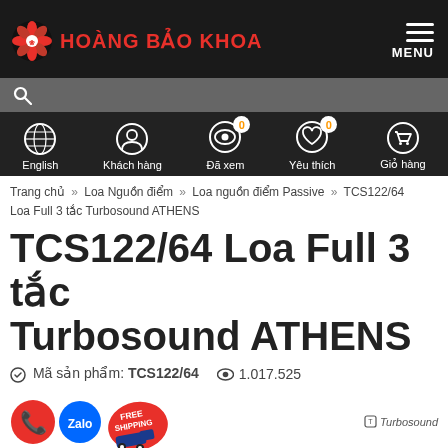HOÀNG BẢO KHOA — MENU
English  Khách hàng  Đã xem 0  Yêu thích 0  Giỏ hàng
Trang chủ » Loa Nguồn điểm » Loa nguồn điểm Passive » TCS122/64 Loa Full 3 tắc Turbosound ATHENS
TCS122/64 Loa Full 3 tắc Turbosound ATHENS
Mã sản phẩm: TCS122/64   1.017.525
[Figure (logo): Social/contact icons: phone (red circle), Zalo (blue circle), Free Shipping badge (red/blue van graphic), and Turbosound brand logo on the right]